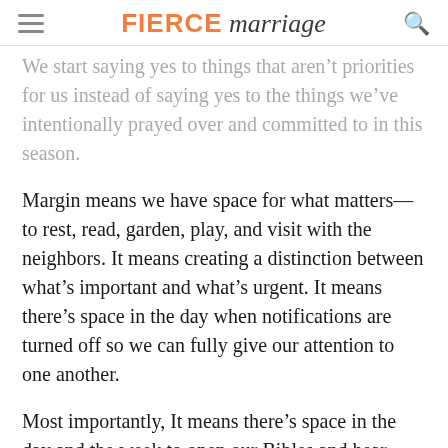FIERCE marriage
We start saying yes to things that aren't priorities for us instead of saying yes to the things we've intentionally prayed over and committed to in this season.
Margin means we have space for what matters—to rest, read, garden, play, and visit with the neighbors. It means creating a distinction between what's important and what's urgent. It means there's space in the day when notifications are turned off so we can fully give our attention to one another.
Most importantly, It means there's space in the day and the week to open our Bibles and hear